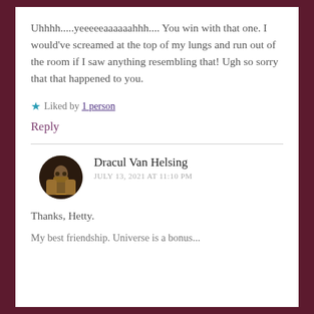Uhhhh.....yeeeeeaaaaaahhh.... You win with that one. I would've screamed at the top of my lungs and run out of the room if I saw anything resembling that! Ugh so sorry that that happened to you.
★ Liked by 1 person
Reply
Dracul Van Helsing
JULY 13, 2021 AT 11:10 PM
Thanks, Hetty.
My best friendship. Universe is a bonus...